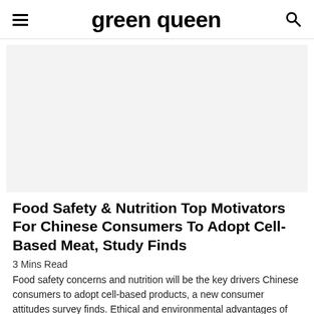green queen
[Figure (photo): Hero image placeholder — light gray rectangle representing an article header image]
Food Safety & Nutrition Top Motivators For Chinese Consumers To Adopt Cell-Based Meat, Study Finds
3 Mins Read
Food safety concerns and nutrition will be the key drivers Chinese consumers to adopt cell-based products, a new consumer attitudes survey finds. Ethical and environmental advantages of cultured